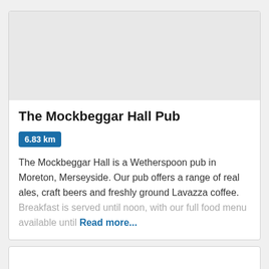[Figure (photo): Image placeholder for The Mockbeggar Hall Pub (grey area)]
The Mockbeggar Hall Pub
6.83 km
The Mockbeggar Hall is a Wetherspoon pub in Moreton, Merseyside. Our pub offers a range of real ales, craft beers and freshly ground Lavazza coffee. Breakfast is served until noon, with our full food menu available until Read more...